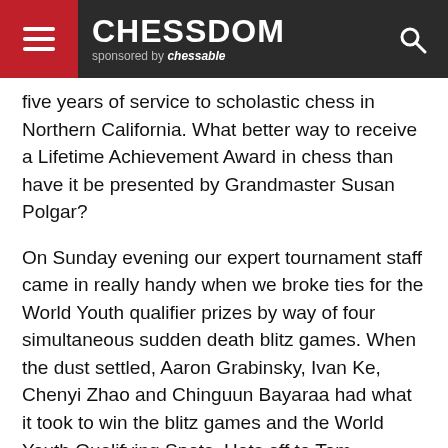CHESSDOM sponsored by chessable
five years of service to scholastic chess in Northern California. What better way to receive a Lifetime Achievement Award in chess than have it be presented by Grandmaster Susan Polgar?
On Sunday evening our expert tournament staff came in really handy when we broke ties for the World Youth qualifier prizes by way of four simultaneous sudden death blitz games. When the dust settled, Aaron Grabinsky, Ivan Ke, Chenyi Zhao and Chinguun Bayaraa had what it took to win the blitz games and the World Youth Qualifying Spots. Hats off to Tom Langland and John McCumiskey – they did an excellent job as our two chief tournament directors.
The school team sections were also very competitive. The